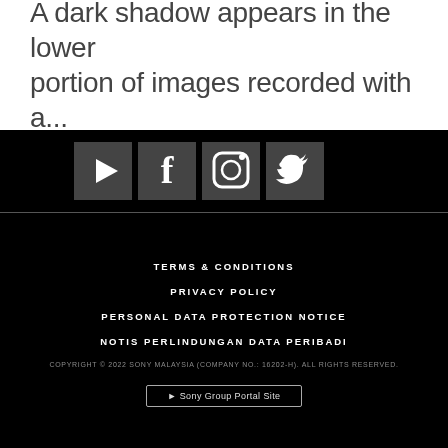A dark shadow appears in the lower portion of images recorded with a...
[Figure (infographic): Social media icons: YouTube, Facebook, Instagram, Twitter on black background]
TERMS & CONDITIONS
PRIVACY POLICY
PERSONAL DATA PROTECTION NOTICE
NOTIS PERLINDUNGAN DATA PERIBADI
COPYRIGHT © 2022 SONY MALAYSIA (COMPANY NO.: 16202-H). ALL RIGHTS RESERVED.
► Sony Group Portal Site